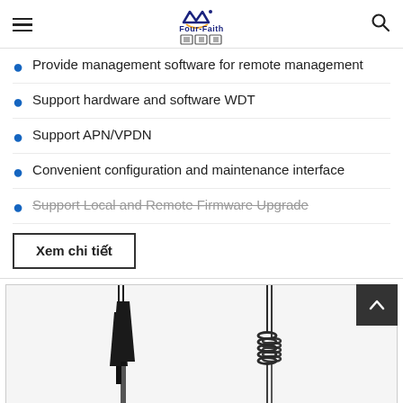Four-Faith [logo with hamburger menu and search icon]
Provide management software for remote management
Support hardware and software WDT
Support APN/VPDN
Convenient configuration and maintenance interface
Support Local and Remote Firmware Upgrade
Xem chi tiết
[Figure (photo): Three antenna products displayed vertically: a tapered black antenna on the left, a coil-type whip antenna in the center, and another coil-type whip antenna on the right, all shown against a light background.]